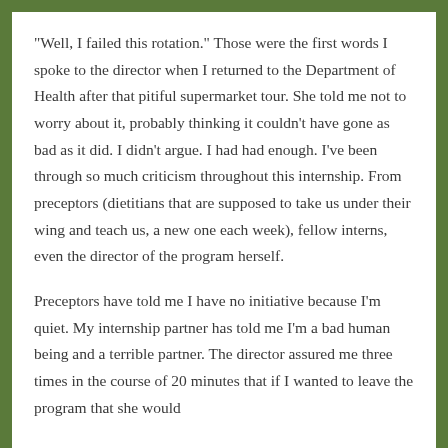“Well, I failed this rotation.” Those were the first words I spoke to the director when I returned to the Department of Health after that pitiful supermarket tour. She told me not to worry about it, probably thinking it couldn’t have gone as bad as it did. I didn’t argue. I had had enough. I’ve been through so much criticism throughout this internship. From preceptors (dietitians that are supposed to take us under their wing and teach us, a new one each week), fellow interns, even the director of the program herself.
Preceptors have told me I have no initiative because I’m quiet. My internship partner has told me I’m a bad human being and a terrible partner. The director assured me three times in the course of 20 minutes that if I wanted to leave the program that she would